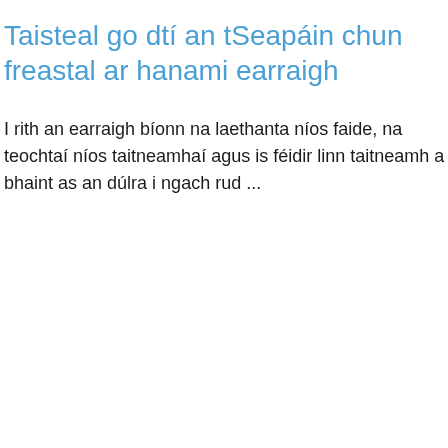Taisteal go dtí an tSeapáin chun freastal ar hanami earraigh
I rith an earraigh bíonn na laethanta níos faide, na teochtaí níos taitneamhaí agus is féidir linn taitneamh a bhaint as an dúlra i ngach rud ...